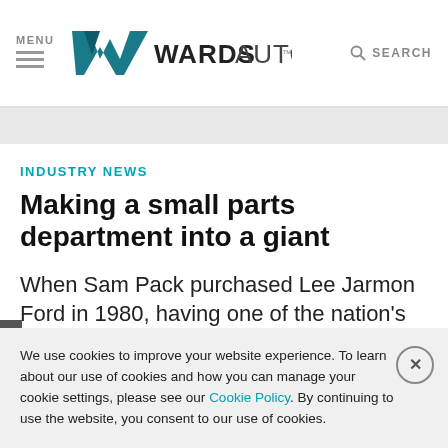MENU | WardsAuto | SEARCH
INDUSTRY NEWS
Making a small parts department into a giant
When Sam Pack purchased Lee Jarmon Ford in 1980, having one of the nation's
We use cookies to improve your website experience. To learn about our use of cookies and how you can manage your cookie settings, please see our Cookie Policy. By continuing to use the website, you consent to our use of cookies.